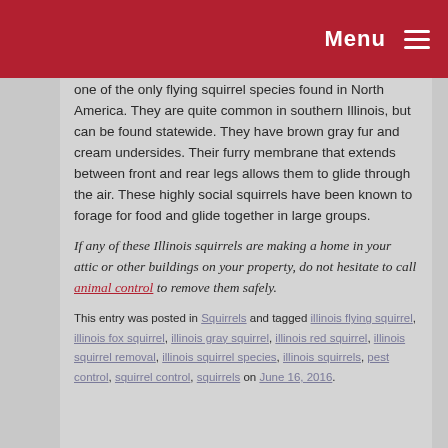Menu
one of the only flying squirrel species found in North America. They are quite common in southern Illinois, but can be found statewide. They have brown gray fur and cream undersides. Their furry membrane that extends between front and rear legs allows them to glide through the air. These highly social squirrels have been known to forage for food and glide together in large groups.
If any of these Illinois squirrels are making a home in your attic or other buildings on your property, do not hesitate to call animal control to remove them safely.
This entry was posted in Squirrels and tagged illinois flying squirrel, illinois fox squirrel, illinois gray squirrel, illinois red squirrel, illinois squirrel removal, illinois squirrel species, illinois squirrels, pest control, squirrel control, squirrels on June 16, 2016.